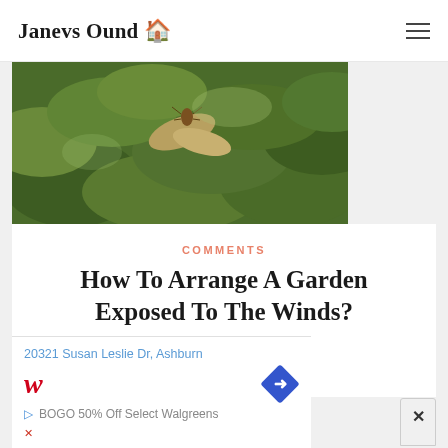Janevs Ound 🏠
[Figure (photo): Close-up photo of green plant leaves with a small insect, outdoor garden scene]
COMMENTS
How To Arrange A Garden Exposed To The Winds?
2019
[Figure (photo): Partially visible second article card at bottom]
20321 Susan Leslie Dr, Ashburn
BOGO 50% Off Select Walgreens